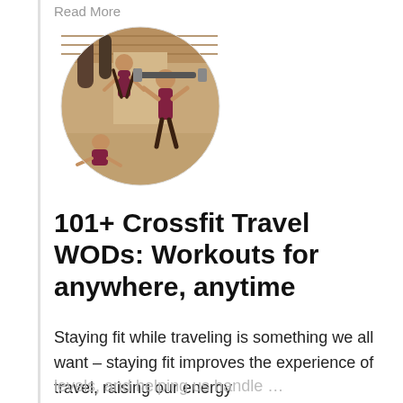Read More
[Figure (photo): Circular cropped photo of people working out in a CrossFit gym, including someone doing a handstand and others exercising with weights in a wooden-ceiling gym.]
101+ Crossfit Travel WODs: Workouts for anywhere, anytime
Staying fit while traveling is something we all want – staying fit improves the experience of travel, raising our energy levels, and helping us handle …